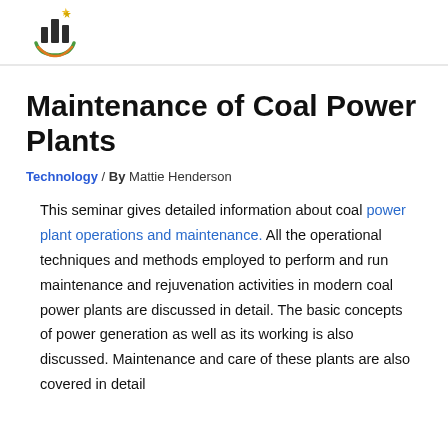[Figure (logo): Company logo: stylized bar chart buildings with a green/orange swoosh underneath and a gold star, circular emblem]
Maintenance of Coal Power Plants
Technology / By Mattie Henderson
This seminar gives detailed information about coal power plant operations and maintenance. All the operational techniques and methods employed to perform and run maintenance and rejuvenation activities in modern coal power plants are discussed in detail. The basic concepts of power generation as well as its working is also discussed. Maintenance and care of these plants are also covered in detail